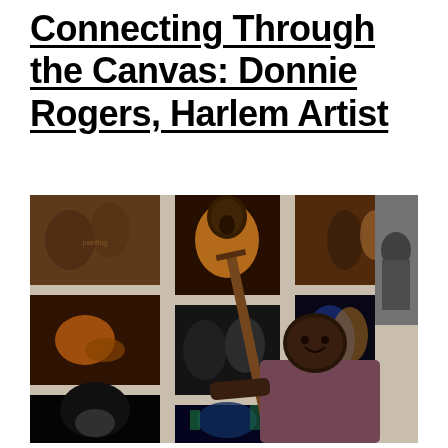Connecting Through the Canvas: Donnie Rogers, Harlem Artist
[Figure (photo): Donnie Rogers, a Harlem artist, seated in front of a wall covered with his paintings. He is smiling and holding a wooden easel or palette knife. The paintings behind him depict various African American subjects including musicians, dancers, and portraits, rendered in rich warm and cool tones.]